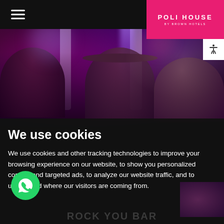POLI HOUSE BY BROWN HOTELS
[Figure (photo): Interior of a lively venue/bar with people socializing, purple/pink lighting, white pillars, and a festive atmosphere.]
We use cookies
We use cookies and other tracking technologies to improve your browsing experience on our website, to show you personalized content and targeted ads, to analyze our website traffic, and to understand where our visitors are coming from.